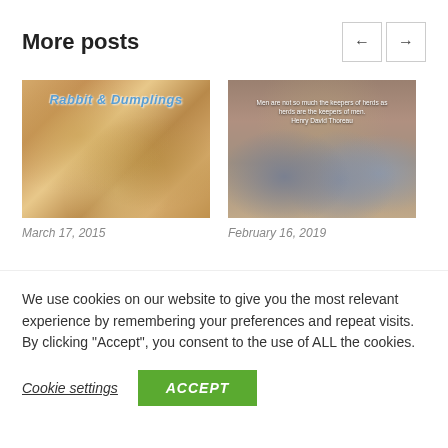More posts
[Figure (photo): Photo of rabbit and dumplings dish with text overlay 'Rabbit & Dumplings']
March 17, 2015
[Figure (photo): Photo of grey rabbits with quote overlay: 'Men are not so much the keepers of herds as herds are the keepers of men. Henry David Thoreau']
February 16, 2019
We use cookies on our website to give you the most relevant experience by remembering your preferences and repeat visits. By clicking "Accept", you consent to the use of ALL the cookies.
Cookie settings
ACCEPT